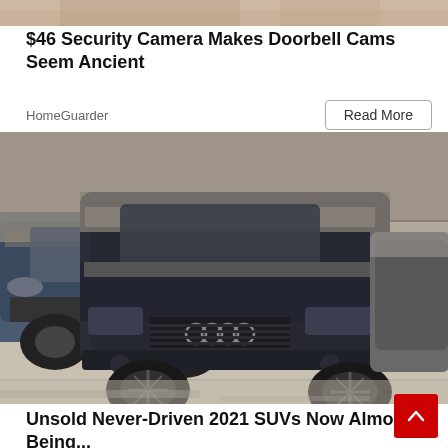[Figure (photo): Partial image at top of page, cropped — appears to be a person or decorative element with warm beige/brown tones]
$46 Security Camera Makes Doorbell Cams Seem Ancient
HomeGuarder
[Figure (photo): Multiple dust-covered SUVs parked in a warehouse or storage facility. A dark Audi Q7 is prominent in the center foreground, with other vehicles beside it, all covered in thick dust or ash.]
Unsold Never-Driven 2021 SUVs Now Almost Being...